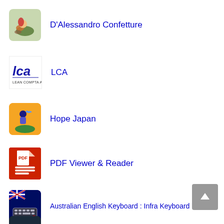D'Alessandro Confetture
LCA
Hope Japan
PDF Viewer & Reader
Australian English Keyboard : Infra Keyboard
iglooworks Smart Access